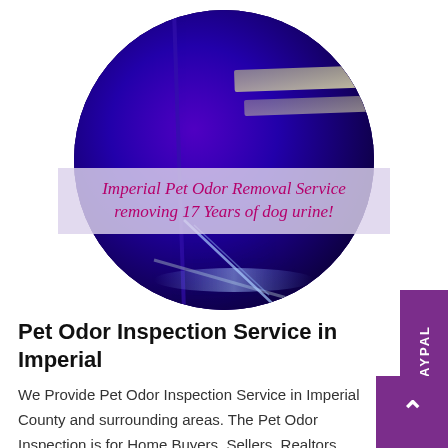[Figure (photo): Circular cropped photo showing a deep purple/blue surface illuminated under UV/black light, with a glowing strip at upper right. Overlaid with text banner.]
Imperial Pet Odor Removal Service removing 17 Years of dog urine!
Pet Odor Inspection Service in Imperial
We Provide Pet Odor Inspection Service in Imperial County and surrounding areas. The Pet Odor Inspection is for Home Buyers, Sellers, Realtors, Property Managers & Tenants. This Service is a valuable tool for disclosure